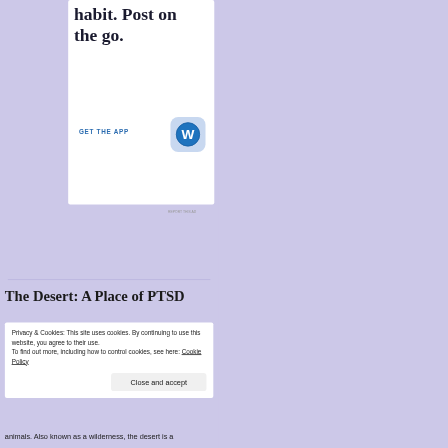habit. Post on the go.
GET THE APP
[Figure (logo): WordPress app icon — blue W logo on light blue rounded square background]
The Desert: A Place of PTSD
Privacy & Cookies: This site uses cookies. By continuing to use this website, you agree to their use.
To find out more, including how to control cookies, see here: Cookie Policy
Close and accept
animals. Also known as a wilderness, the desert is a